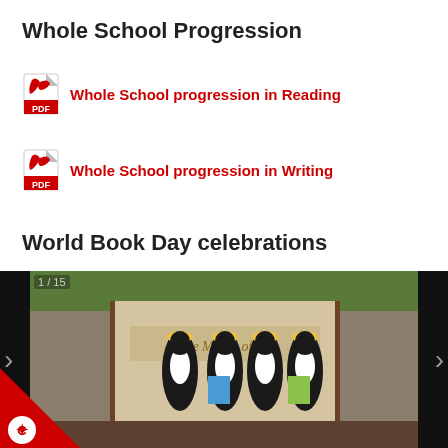Whole School Progression
Whole School progression in Reading
Whole School progression in Writing
World Book Day celebrations
[Figure (photo): Slideshow showing 4 people dressed in penguin costumes standing in front of a classroom display reading 'The Magic of Yet'. Image counter shows 1/15. Navigation arrows on left and right sides. Black borders on sides.]